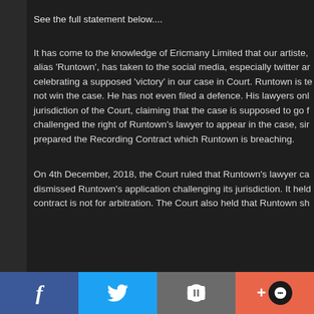See the full statement below....
It has come to the knowledge of Ericmany Limited that our artiste, alias ‘Runtown’, has taken to the social media, especially twitter ar celebrating a supposed ‘victory’ in our case in Court. Runtown is te not win the case. He has not even filed a defence. His lawyers onl jurisdiction of the Court, claiming that the case is supposed to go f challenged the right of Runtown’s lawyer to appear in the case, sir prepared the Recording Contract which Runtown is breaching.
On 4th December, 2018, the Court ruled that Runtown’s lawyer ca dismissed Runtown’s application challenging its jurisdiction. It held contract is not for arbitration. The Court also held that Runtown sh